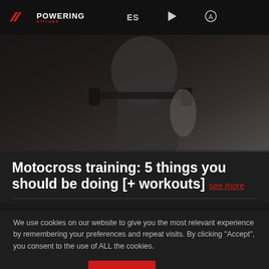POWERING offroad | ES
[Figure (photo): Dark moody photo of a person gripping motorcycle handlebars, wearing a dark t-shirt, with tattoos visible on arm, gym/garage background]
Motocross training: 5 things you should be doing [+ workouts] see more
We use cookies on our website to give you the most relevant experience by remembering your preferences and repeat visits. By clicking “Accept”, you consent to the use of ALL the cookies.
Choose cookies | I accept